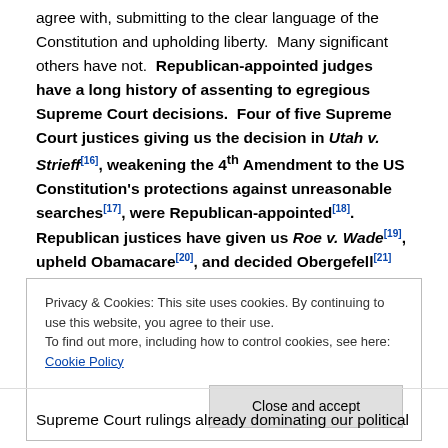agree with, submitting to the clear language of the Constitution and upholding liberty. Many significant others have not. Republican-appointed judges have a long history of assenting to egregious Supreme Court decisions. Four of five Supreme Court justices giving us the decision in Utah v. Strieff[16], weakening the 4th Amendment to the US Constitution's protections against unreasonable searches[17], were Republican-appointed[18]. Republican justices have given us Roe v. Wade[19], upheld Obamacare[20], and decided Obergefell[21] (attempting to mandate homosexual
Privacy & Cookies: This site uses cookies. By continuing to use this website, you agree to their use.
To find out more, including how to control cookies, see here: Cookie Policy
Supreme Court rulings already dominating our political